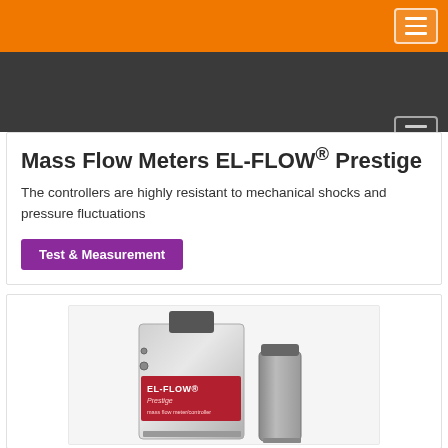Mass Flow Meters EL-FLOW® Prestige
The controllers are highly resistant to mechanical shocks and pressure fluctuations
Test & Measurement
[Figure (photo): EL-FLOW Prestige mass flow meter/controller device — a rectangular metallic instrument with a red label reading 'EL-FLOW® Prestige mass flow meter/controller' and a cylindrical metal component beside it]